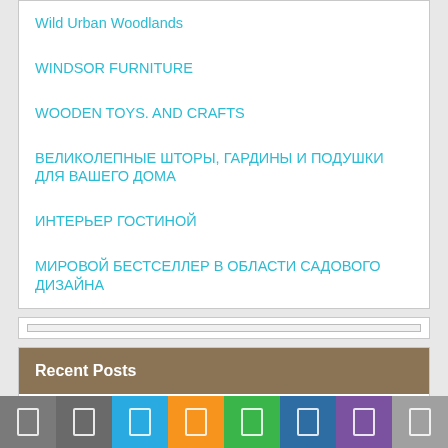Wild Urban Woodlands
WINDSOR FURNITURE
WOODEN TOYS. AND CRAFTS
ВЕЛИКОЛЕПНЫЕ ШТОРЫ, ГАРДИНЫ И ПОДУШКИ ДЛЯ ВАШЕГО ДОМА
ИНТЕРЬЕР ГОСТИНОЙ
МИРОВОЙ БЕСТСЕЛЛЕР В ОБЛАСТИ САДОВОГО ДИЗАЙНА
Recent Posts
Features of Furniture for Dispatching Services
Светодиодные светильники: виды, предназначение, преимущества
Теплый пол под плитку